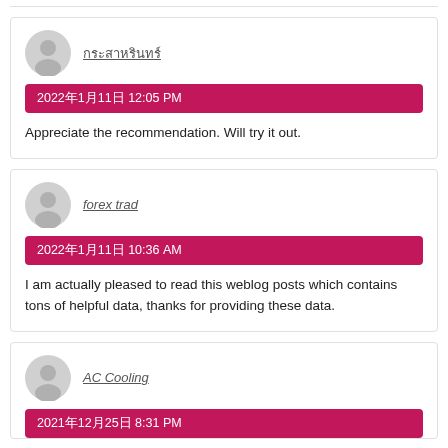เธเธฃเธฐเธชเธฒเธซเธฃ (username with non-latin characters)
2022年1月11日 12:05 PM
Appreciate the recommendation. Will try it out.
forex trad
2022年1月11日 10:36 AM
I am actually pleased to read this weblog posts which contains tons of helpful data, thanks for providing these data.
AC Cooling
2021年12月25日 8:31 PM